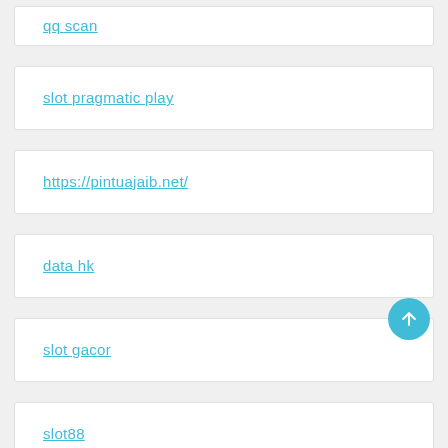qq scan
slot pragmatic play
https://pintuajaib.net/
data hk
slot gacor
slot88